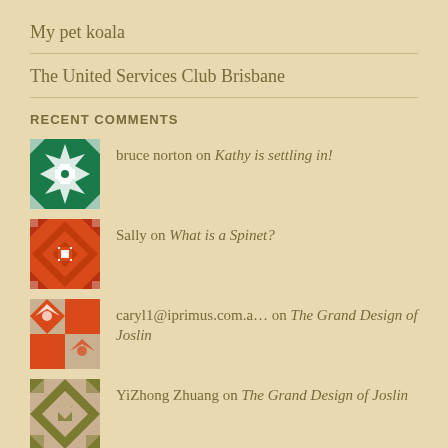My pet koala
The United Services Club Brisbane
RECENT COMMENTS
bruce norton on Kathy is settling in!
Sally on What is a Spinet?
caryl1@iprimus.com.a… on The Grand Design of Joslin
YiZhong Zhuang on The Grand Design of Joslin
Sally Farrington on The Grand Design of Joslin